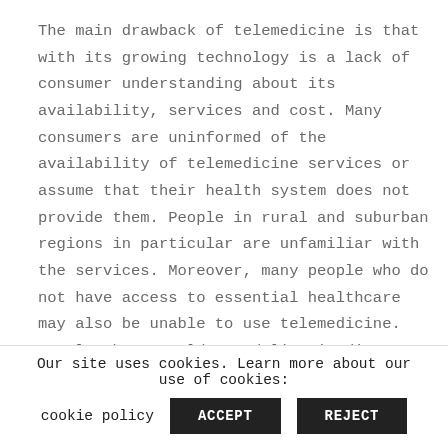The main drawback of telemedicine is that with its growing technology is a lack of consumer understanding about its availability, services and cost. Many consumers are uninformed of the availability of telemedicine services or assume that their health system does not provide them. People in rural and suburban regions in particular are unfamiliar with the services. Moreover, many people who do not have access to essential healthcare may also be unable to use telemedicine. People who are older and live in distant regions and have
Our site uses cookies. Learn more about our use of cookies:
cookie policy
ACCEPT
REJECT